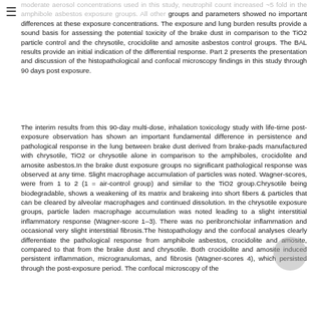moderate aerosol concentrations used in this study, neutrophil count increased ~5 fold in the amphibole asbestos exposure groups. All other groups and parameters showed no important differences at these exposure concentrations. The exposure and lung burden results provide a sound basis for assessing the potential toxicity of the brake dust in comparison to the TiO2 particle control and the chrysotile, crocidolite and amosite asbestos control groups. The BAL results provide an initial indication of the differential response. Part 2 presents the presentation and discussion of the histopathological and confocal microscopy findings in this study through 90 days post exposure.
The interim results from this 90-day multi-dose, inhalation toxicology study with life-time post-exposure observation has shown an important fundamental difference in persistence and pathological response in the lung between brake dust derived from brake-pads manufactured with chrysotile, TiO2 or chrysotile alone in comparison to the amphiboles, crocidolite and amosite asbestos.In the brake dust exposure groups no significant pathological response was observed at any time. Slight macrophage accumulation of particles was noted. Wagner-scores, were from 1 to 2 (1 = air-control group) and similar to the TiO2 group.Chrysotile being biodegradable, shows a weakening of its matrix and brakeing into short fibers & particles that can be cleared by alveolar macrophages and continued dissolution. In the chrysotile exposure groups, particle laden macrophage accumulation was noted leading to a slight interstitial inflammatory response (Wagner-score 1–3). There was no peribronchiolar inflammation and occasional very slight interstitial fibrosis.The histopathology and the confocal analyses clearly differentiate the pathological response from amphibole asbestos, crocidolite and amosite, compared to that from the brake dust and chrysotile. Both crocidolite and amosite induced persistent inflammation, microgranulomas, and fibrosis (Wagner-scores 4), which persisted through the post-exposure period. The confocal microscopy of the